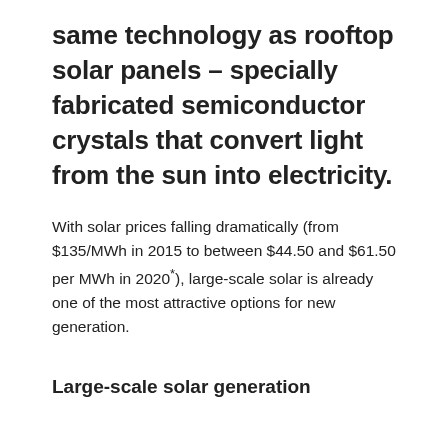same technology as rooftop solar panels – specially fabricated semiconductor crystals that convert light from the sun into electricity.
With solar prices falling dramatically (from $135/MWh in 2015 to between $44.50 and $61.50 per MWh in 2020*), large-scale solar is already one of the most attractive options for new generation.
Large-scale solar generation